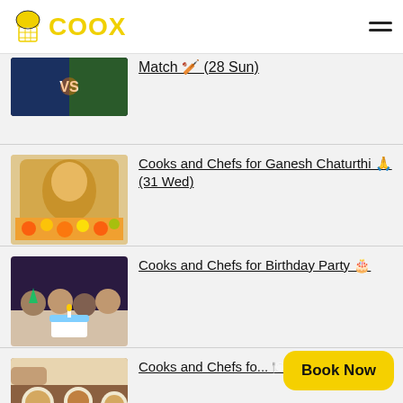[Figure (logo): COOX logo with chef hat icon and yellow text]
Match 🏏 (28 Sun)
Cooks and Chefs for Ganesh Chaturthi 🙏 (31 Wed)
Cooks and Chefs for Birthday Party 🎂
Cooks and Chefs fo... 🍽️